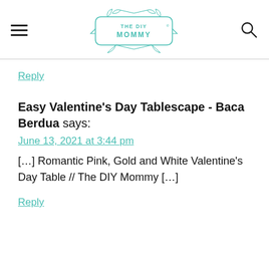THE DIY MOMMY
Reply
Easy Valentine's Day Tablescape - Baca Berdua says:
June 13, 2021 at 3:44 pm
[…] Romantic Pink, Gold and White Valentine's Day Table // The DIY Mommy […]
Reply